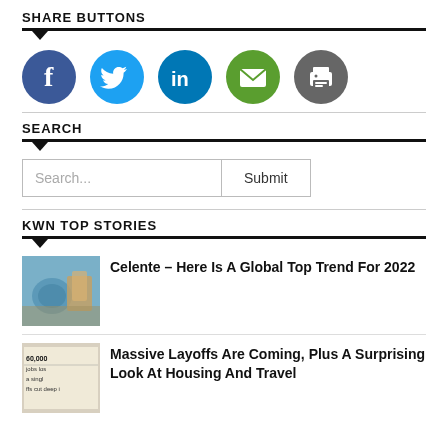SHARE BUTTONS
[Figure (infographic): Five social share icon buttons: Facebook (dark blue circle with f), Twitter (light blue circle with bird), LinkedIn (blue circle with in), Email (green circle with envelope), Print (gray circle with printer)]
SEARCH
[Figure (screenshot): Search bar with placeholder text 'Search...' and a Submit button]
KWN TOP STORIES
[Figure (photo): Thumbnail image for story about global top trend 2022 – futuristic globe/city imagery]
Celente – Here Is A Global Top Trend For 2022
[Figure (photo): Thumbnail image for story about massive layoffs – newspaper clipping showing '60,000 jobs lost in a single...' headline]
Massive Layoffs Are Coming, Plus A Surprising Look At Housing And Travel